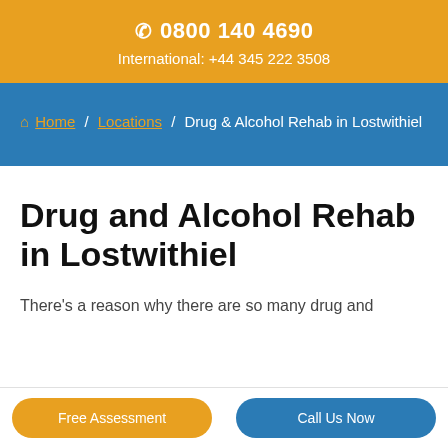☎ 0800 140 4690
International: +44 345 222 3508
Home / Locations / Drug & Alcohol Rehab in Lostwithiel
Drug and Alcohol Rehab in Lostwithiel
There's a reason why there are so many drug and
Free Assessment
Call Us Now